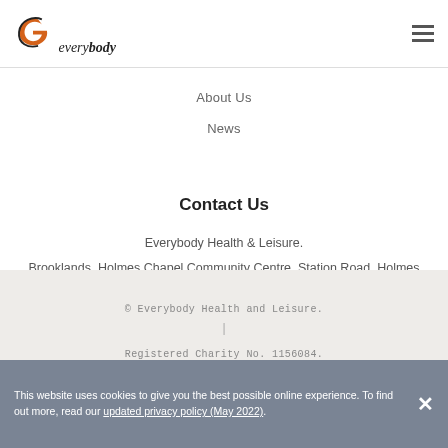[Figure (logo): Everybody Health & Leisure logo with stylized 'e' ampersand icon and text 'everybody']
About Us
News
Contact Us
Everybody Health & Leisure.
Brooklands, Holmes Chapel Community Centre, Station Road, Holmes Chapel, Cheshire. CW4 8AA
© Everybody Health and Leisure.
|
Registered Charity No. 1156084.
This website uses cookies to give you the best possible online experience. To find out more, read our updated privacy policy (May 2022).